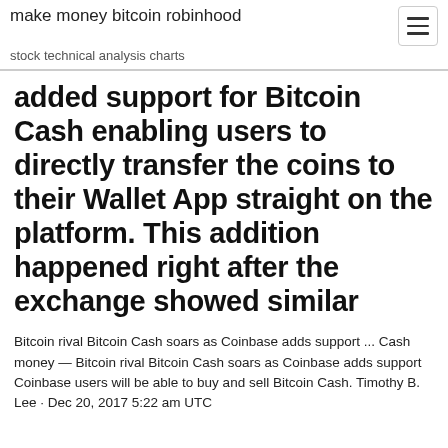make money bitcoin robinhood
stock technical analysis charts
added support for Bitcoin Cash enabling users to directly transfer the coins to their Wallet App straight on the platform. This addition happened right after the exchange showed similar
Bitcoin rival Bitcoin Cash soars as Coinbase adds support ... Cash money — Bitcoin rival Bitcoin Cash soars as Coinbase adds support Coinbase users will be able to buy and sell Bitcoin Cash. Timothy B. Lee · Dec 20, 2017 5:22 am UTC